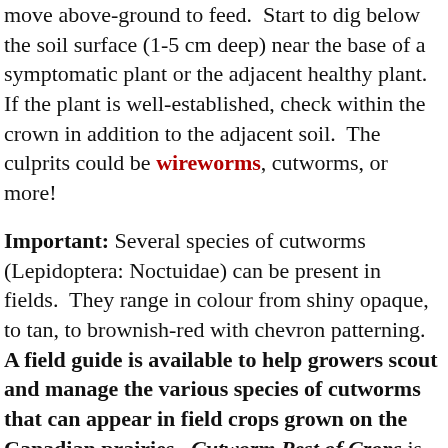move above-ground to feed. Start to dig below the soil surface (1-5 cm deep) near the base of a symptomatic plant or the adjacent healthy plant. If the plant is well-established, check within the crown in addition to the adjacent soil. The culprits could be wireworms, cutworms, or more!
Important: Several species of cutworms (Lepidoptera: Noctuidae) can be present in fields. They range in colour from shiny opaque, to tan, to brownish-red with chevron patterning. A field guide is available to help growers scout and manage the various species of cutworms that can appear in field crops grown on the Canadian prairies. Cutworm Pest of Crops is available free in either English or French! Download a